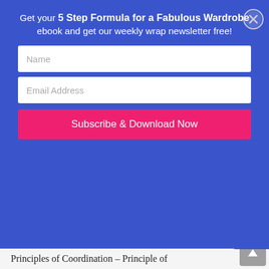[Figure (screenshot): Website popup modal with blue background overlaying a fashion blog page. Shows four outfit combinations: floral peplum top with navy skirt, red top with floral skirt, grey draped cardigan with dark jeans, and tan jacket with black wide-leg pants. Below modal is a colorful bird/feather logo for Imogen Lampert and a partial article title.]
Get your 5 Step Formula for a Fabulous Wardrobe ebook and get our weekly wrap newsletter free!
Name
Email Address
Subscribe & Download Now
Principles of Coordination – Principle of